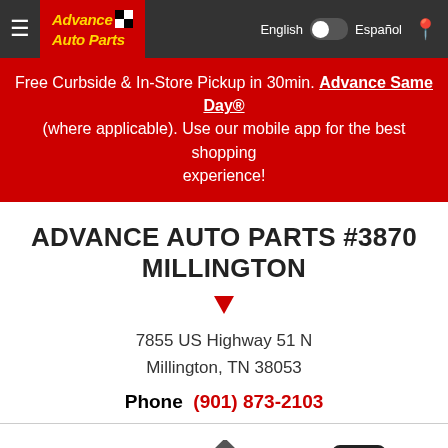[Figure (screenshot): Advance Auto Parts navigation bar with hamburger menu, logo, language toggle (English/Español), and location icon]
Free Curbside & In-Store Pickup in 30min. Advance Same Day® (where applicable). Use our mobile app for the best shopping experience!
ADVANCE AUTO PARTS #3870 MILLINGTON
7855 US Highway 51 N
Millington, TN 38053
Phone (901) 873-2103
[Figure (infographic): Three icons at the bottom: phone icon, directions diamond icon, Uber circle icon]